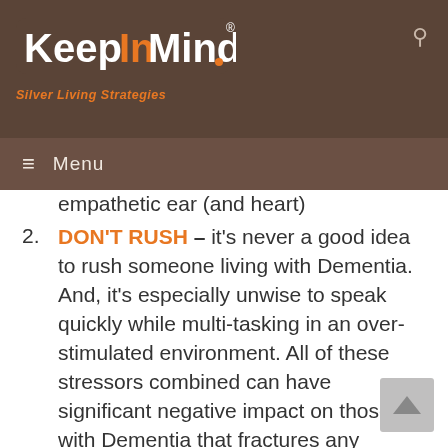[Figure (logo): KeepInMind logo with orange and white stylized text on brown background, with tagline 'Silver Living Strategies' in orange italic]
≡ Menu
empathetic ear (and heart)
DON'T RUSH – it's never a good idea to rush someone living with Dementia. And, it's especially unwise to speak quickly while multi-tasking in an over-stimulated environment. All of these stressors combined can have significant negative impact on those with Dementia that fractures any chance of a successful communication encounter.
KNOW YOUR PERSON – In a